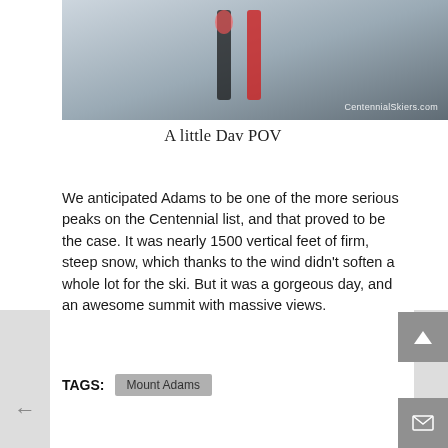[Figure (photo): POV ski photo showing ski tips on snowy slope with CentennialSkiers.com watermark]
A little Dav POV
We anticipated Adams to be one of the more serious peaks on the Centennial list, and that proved to be the case. It was nearly 1500 vertical feet of firm, steep snow, which thanks to the wind didn't soften a whole lot for the ski. But it was a gorgeous day, and an awesome summit with massive views.
TAGS: Mount Adams